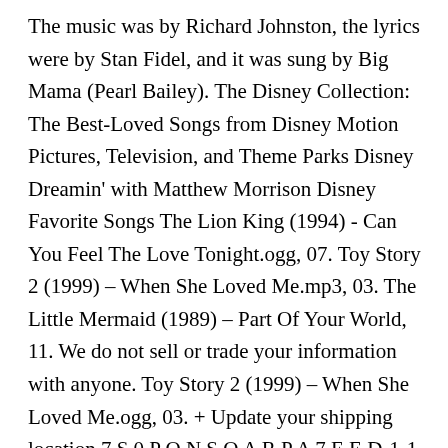The music was by Richard Johnston, the lyrics were by Stan Fidel, and it was sung by Big Mama (Pearl Bailey). The Disney Collection: The Best-Loved Songs from Disney Motion Pictures, Television, and Theme Parks Disney Dreamin' with Matthew Morrison Disney Favorite Songs The Lion King (1994) - Can You Feel The Love Tonight.ogg, 07. Toy Story 2 (1999) – When She Loved Me.mp3, 03. The Little Mermaid (1989) – Part Of Your World, 11. We do not sell or trade your information with anyone. Toy Story 2 (1999) – When She Loved Me.ogg, 03. + Update your shipping location 7 S 0 P O N S O A R P A 7 E E D-1-1 U J-1 0 F J-1-1. Return To Never Land (2002) - I'll Try.mp3, 02. DISNEY'S GREATEST Volume 1 (A Pirate's Life